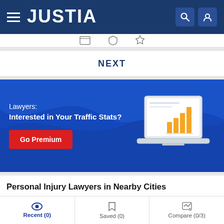JUSTIA
NEXT
[Figure (infographic): Justia premium advertising banner: 'Lawyers: Interested in Your Traffic Stats?' with a Go Premium red button and a bar chart illustration on a laptop graphic]
Personal Injury Lawyers in Nearby Cities
Recent (0)   Saved (0)   Compare (0/3)